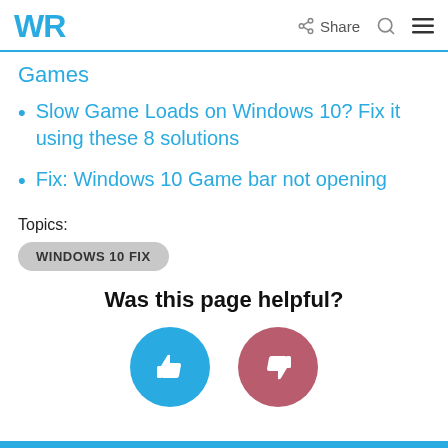WR | Share
Games
Slow Game Loads on Windows 10? Fix it using these 8 solutions
Fix: Windows 10 Game bar not opening
Topics:
WINDOWS 10 FIX
Was this page helpful?